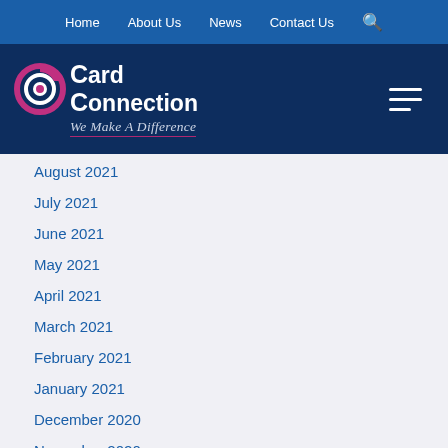Home | About Us | News | Contact Us | Search
[Figure (logo): Card Connection logo with tagline 'We Make A Difference' on dark navy background with hamburger menu icon]
August 2021
July 2021
June 2021
May 2021
April 2021
March 2021
February 2021
January 2021
December 2020
November 2020
October 2020
September 2020